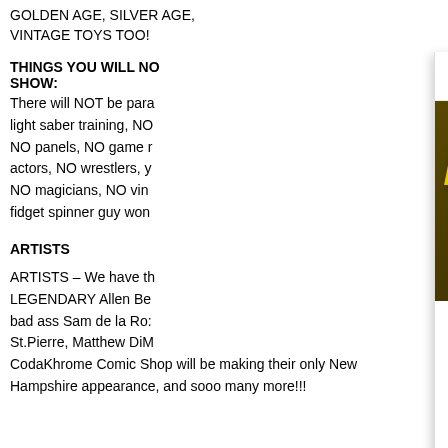GOLDEN AGE, SILVER AGE, VINTAGE TOYS TOO!
THINGS YOU WILL NOT SEE AT OUR SHOW:
There will NOT be para... light saber training, NO... NO panels, NO game... actors, NO wrestlers, y... NO magicians, NO vin... fidget spinner guy won...
ARTISTS
ARTISTS – We have th... LEGENDARY Allen Be... bad ass Sam de la Ros... St.Pierre, Matthew DiM... CodaKhrome Comic Shop will be making their only New Hampshire appearance, and sooo many more!!!
MORE STORIES
[Figure (photo): Forbidden Planet NYC Nubia and the Amazons comic book cover showing the title NUBIA in large yellow letters on a dark background with a figure with large natural hair]
NYC – Nubia and the Amaz... Signing
Colin Solan - September 2, 2022
Forbidden Planet is beyond excited to announc... Tuesday September 6th we will be celebrating release of DC's Nubia & the Amazons...